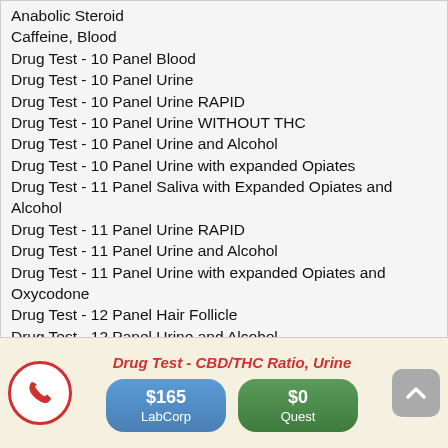Anabolic Steroid
Caffeine, Blood
Drug Test - 10 Panel Blood
Drug Test - 10 Panel Urine
Drug Test - 10 Panel Urine RAPID
Drug Test - 10 Panel Urine WITHOUT THC
Drug Test - 10 Panel Urine and Alcohol
Drug Test - 10 Panel Urine with expanded Opiates
Drug Test - 11 Panel Saliva with Expanded Opiates and Alcohol
Drug Test - 11 Panel Urine RAPID
Drug Test - 11 Panel Urine and Alcohol
Drug Test - 11 Panel Urine with expanded Opiates and Oxycodone
Drug Test - 12 Panel Hair Follicle
Drug Test - 12 Panel Urine and Alcohol
Drug Test - 13 Panel Urine and Alcohol
Drug Test - 14 Panel Hair Follicle
Drug Test - CBD/THC Ratio, Urine
$165 LabCorp
$0 Quest